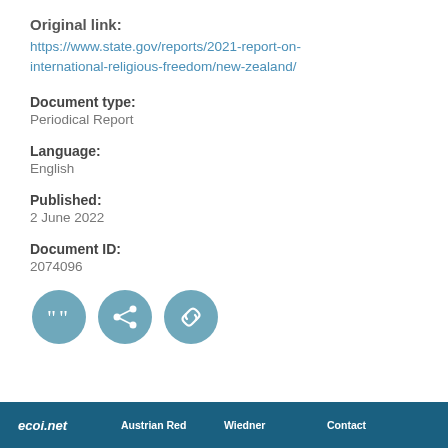Original link:
https://www.state.gov/reports/2021-report-on-international-religious-freedom/new-zealand/
Document type:
Periodical Report
Language:
English
Published:
2 June 2022
Document ID:
2074096
[Figure (illustration): Three circular icon buttons in teal/blue-grey color: a quotation mark icon, a share/network icon, and a link/chain icon.]
ecoi.net   Austrian Red   Wiedner   Contact